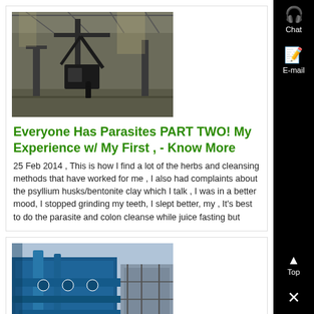[Figure (photo): Industrial interior with large machinery or cranes in a warehouse-like space, dark tones]
Everyone Has Parasites PART TWO! My Experience w/ My First , - Know More
25 Feb 2014 , This is how I find a lot of the herbs and cleansing methods that have worked for me , I also had complaints about the psyllium husks/bentonite clay which I talk , I was in a better mood, I stopped grinding my teeth, I slept better, my , It's best to do the parasite and colon cleanse while juice fasting but
[Figure (photo): Industrial machinery with blue and grey pipes and equipment, outdoor or industrial setting]
20 Things You Never Knew You Could Do With Kitty Litter | Petslady . - Know More